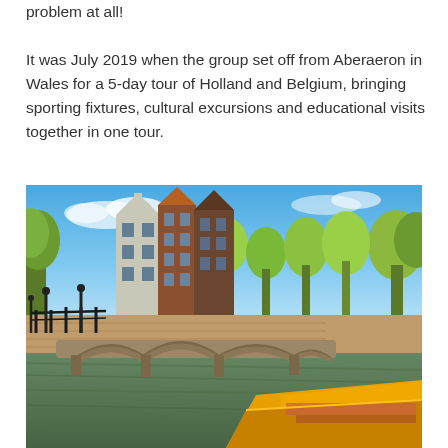problem at all!

It was July 2019 when the group set off from Aberaeron in Wales for a 5-day tour of Holland and Belgium, bringing sporting fixtures, cultural excursions and educational visits together in one tour.
[Figure (photo): Photograph of Amsterdam canal with a stone arch bridge, Dutch canal houses, trees, and a yellow tour boat on the water under a blue sky.]